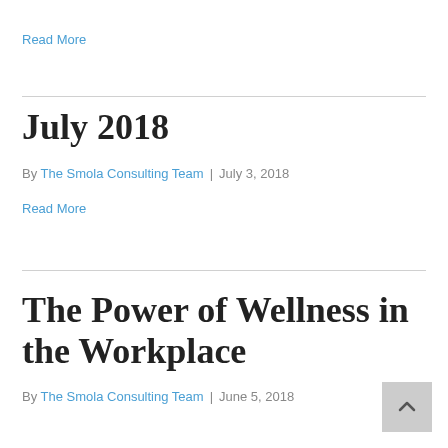Read More
July 2018
By The Smola Consulting Team | July 3, 2018
Read More
The Power of Wellness in the Workplace
By The Smola Consulting Team | June 5, 2018